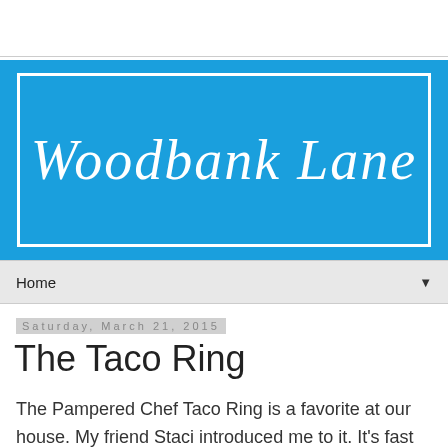[Figure (logo): Woodbank Lane blog logo — blue rectangle with white inner border and script text 'Woodbank Lane' in white cursive font]
Home ▼
Saturday, March 21, 2015
The Taco Ring
The Pampered Chef Taco Ring is a favorite at our house. My friend Staci introduced me to it. It's fast and easy! Perfect for a week night or the weekend. And only four ingredients, five